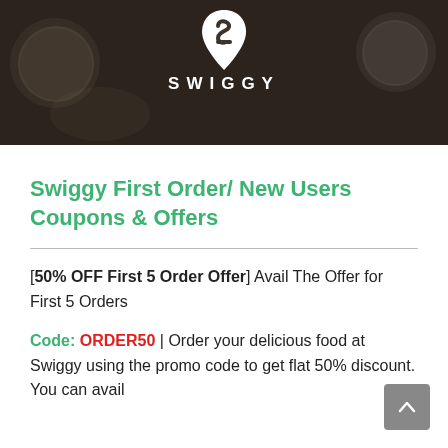[Figure (logo): Swiggy banner with dark food background and white Swiggy logo with wordmark SWIGGY]
Swiggy First Order/ New Users Coupons & Offers
[50% OFF First 5 Order Offer] Avail The Offer for First 5 Orders
Code: ORDER50 | Order your delicious food at Swiggy using the promo code to get flat 50% discount. You can avail